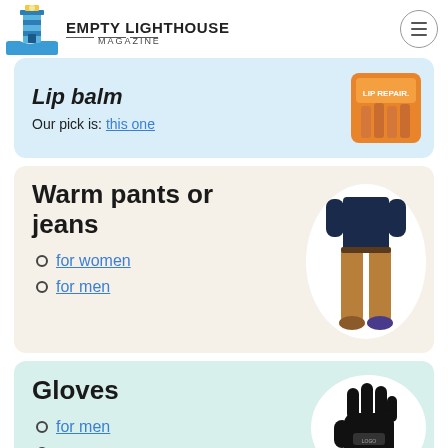EMPTY LIGHTHOUSE MAGAZINE
Lip balm
Our pick is: this one
[Figure (photo): Lip balm product image - orange packages]
Warm pants or jeans
for women
for men
[Figure (photo): Man wearing khaki pants and dark sweater]
Gloves
for men
[Figure (photo): Black winter glove]